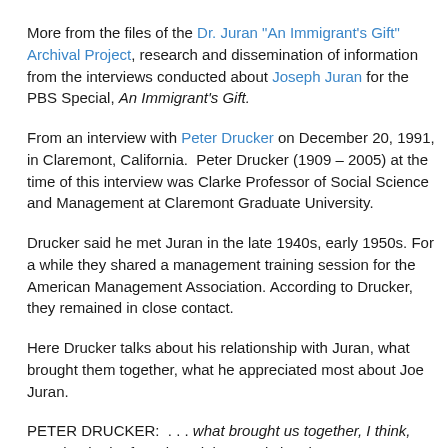More from the files of the Dr. Juran "An Immigrant's Gift" Archival Project, research and dissemination of information from the interviews conducted about Joseph Juran for the PBS Special, An Immigrant's Gift.
From an interview with Peter Drucker on December 20, 1991, in Claremont, California.  Peter Drucker (1909 – 2005) at the time of this interview was Clarke Professor of Social Science and Management at Claremont Graduate University.
Drucker said he met Juran in the late 1940s, early 1950s. For a while they shared a management training session for the American Management Association. According to Drucker, they remained in close contact.
Here Drucker talks about his relationship with Juran, what brought them together, what he appreciated most about Joe Juran.
PETER DRUCKER:  . . . what brought us together, I think, was that both of us shared the conviction that management deals with people -- and that the job